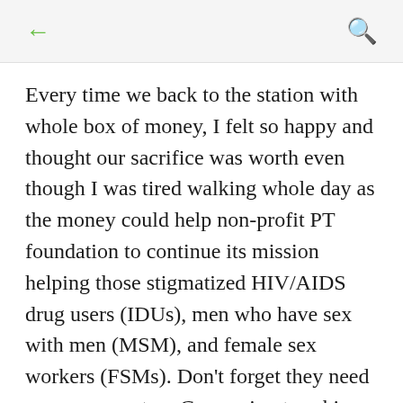← (back) 🔍 (search)
Every time we back to the station with whole box of money, I felt so happy and thought our sacrifice was worth even though I was tired walking whole day as the money could help non-profit PT foundation to continue its mission helping those stigmatized HIV/AIDS drug users (IDUs), men who have sex with men (MSM), and female sex workers (FSMs). Don't forget they need our concerns too. Comparing to asking donation from public one by one, sharing information to educate via social media platform is much more